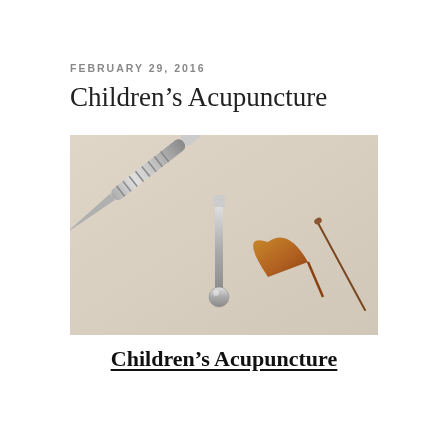FEBRUARY 29, 2016
Children's Acupuncture
[Figure (photo): Four acupuncture and pediatric acupuncture tools laid out on a beige surface: a silver cylindrical tool with a fine needle tip (upper left), a silver ball-tipped probe/rod (center), a gold fan-shaped blade tool (center right), and a thin traditional needle (far right).]
Children's Acupuncture